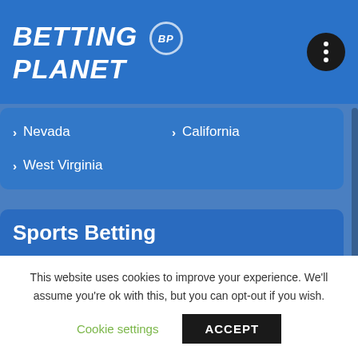BETTING BP PLANET
Nevada
California
West Virginia
Sports Betting
Olympics 2021
Free bets
NFL
NBA
This website uses cookies to improve your experience. We'll assume you're ok with this, but you can opt-out if you wish.
Cookie settings  ACCEPT